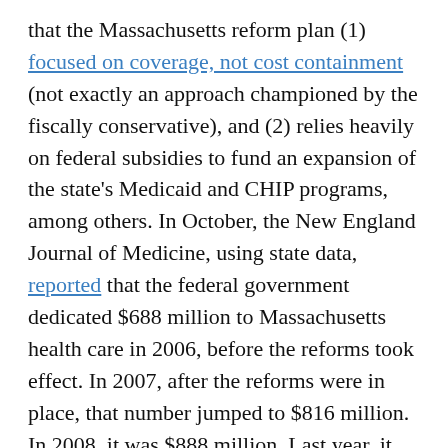that the Massachusetts reform plan (1) focused on coverage, not cost containment (not exactly an approach championed by the fiscally conservative), and (2) relies heavily on federal subsidies to fund an expansion of the state's Medicaid and CHIP programs, among others. In October, the New England Journal of Medicine, using state data, reported that the federal government dedicated $688 million to Massachusetts health care in 2006, before the reforms took effect. In 2007, after the reforms were in place, that number jumped to $816 million. In 2008, it was $888 million. Last year, it was projected to approach $1.3 billion.
So while Brown says he's not going to subsidize what other states failed to do, other states are busy subsidizing what Massachusetts has done. He should at